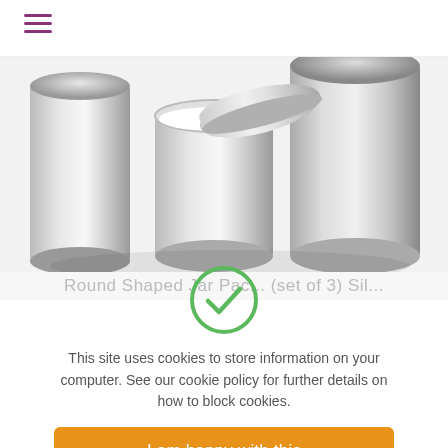[Figure (photo): Silver/chrome metallic cylindrical cosmetic or food containers, two shown with one lid open, on a light background]
Round Shaped Jar Pac... (set of 3) Sil...
[Figure (infographic): Green checkmark circle icon indicating acceptance/confirmation]
This site uses cookies to store information on your computer. See our cookie policy for further details on how to block cookies.
I am happy with this